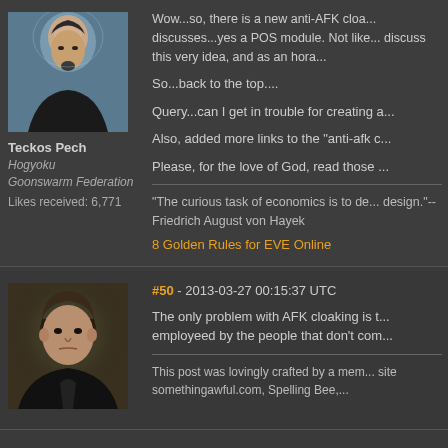[Figure (illustration): Avatar portrait of a man with goatee in dark clothing against a blue-grey background]
Teckos Pech
Hogyoku
Goonswarm Federation
Likes received: 6,771
Wow...so, there is a new anti-AFK cloa... discusses...yes a POS module. Not like... discuss this very idea, and as an hono...
So...back to the top....
Query...can I get in trouble for creating a...
Also, added more links to the "anti-afk c...
Please, for the love of God, read those...
"The curious task of economics is to de... design."--Friedrich August von Hayek
8 Golden Rules for EVE Online
#50 - 2013-03-27 00:15:37 UTC
[Figure (illustration): Avatar portrait of a stern-looking young man in dark clothing against a dark background]
The only problem with AFK cloaking is t... employeed by the people that don't com...
This post was lovingly crafted by a mem... site somethingawful.com, Spelling Bee,